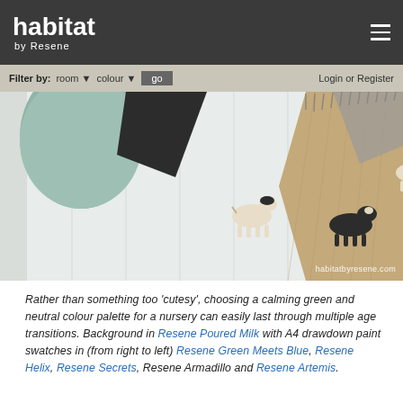habitat by Resene
Filter by: room ▼  colour ▼  go  Login or Register
[Figure (photo): Interior décor flatlay photo showing small ceramic animal figurines (horses and a cow) on a white panelled surface, with a green vase, a geometric dark shape, and a woven tan/grey rug. Watermark reads habitatbyresene.com]
Rather than something too 'cutesy', choosing a calming green and neutral colour palette for a nursery can easily last through multiple age transitions. Background in Resene Poured Milk with A4 drawdown paint swatches in (from right to left) Resene Green Meets Blue, Resene Helix, Resene Secrets, Resene Armadillo and Resene Artemis.